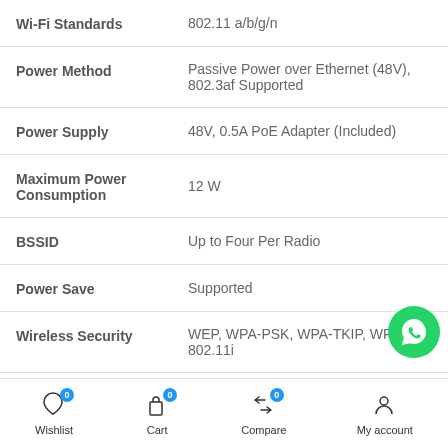| Specification | Value |
| --- | --- |
| Wi-Fi Standards | 802.11 a/b/g/n |
| Power Method | Passive Power over Ethernet (48V), 802.3af Supported |
| Power Supply | 48V, 0.5A PoE Adapter (Included) |
| Maximum Power Consumption | 12 W |
| BSSID | Up to Four Per Radio |
| Power Save | Supported |
| Wireless Security | WEP, WPA-PSK, WPA-TKIP, WPA2 A 802.11i |
Wishlist 0  Cart 0  Compare 0  My account